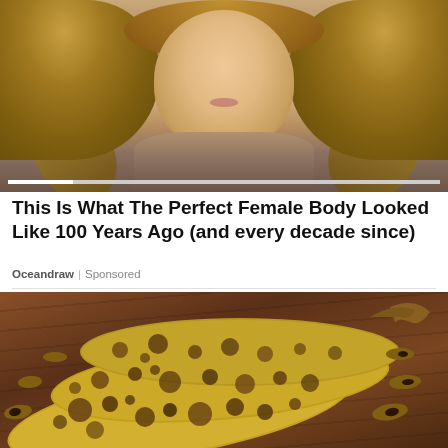[Figure (photo): Woman with long wavy blonde hair, smiling, wearing a brown outfit. A video scrubber bar is visible at the bottom of the image.]
This Is What The Perfect Female Body Looked Like 100 Years Ago (and every decade since)
Oceandraw | Sponsored
[Figure (photo): Three overripe bananas with heavy brown and black spotting, placed on a dark wooden surface.]